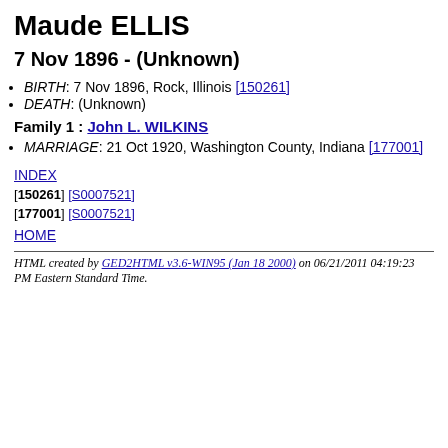Maude ELLIS
7 Nov 1896 - (Unknown)
BIRTH: 7 Nov 1896, Rock, Illinois [150261]
DEATH: (Unknown)
Family 1 : John L. WILKINS
MARRIAGE: 21 Oct 1920, Washington County, Indiana [177001]
INDEX
[150261] [S0007521]
[177001] [S0007521]
HOME
HTML created by GED2HTML v3.6-WIN95 (Jan 18 2000) on 06/21/2011 04:19:23 PM Eastern Standard Time.